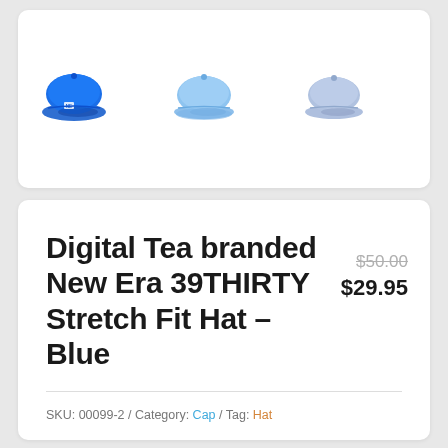[Figure (photo): Three blue baseball caps shown as product thumbnails: a bright royal blue cap from the front-left angle, a light blue cap from the front, and a pale/periwinkle blue cap from the side.]
Digital Tea branded New Era 39THIRTY Stretch Fit Hat – Blue
$50.00 $29.95
SKU: 00099-2 / Category: Cap / Tag: Hat